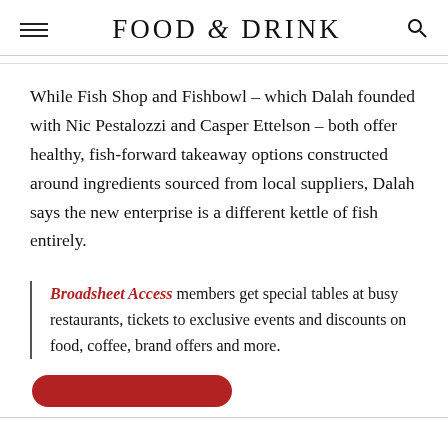FOOD & DRINK
While Fish Shop and Fishbowl – which Dalah founded with Nic Pestalozzi and Casper Ettelson – both offer healthy, fish-forward takeaway options constructed around ingredients sourced from local suppliers, Dalah says the new enterprise is a different kettle of fish entirely.
Broadsheet Access members get special tables at busy restaurants, tickets to exclusive events and discounts on food, coffee, brand offers and more.